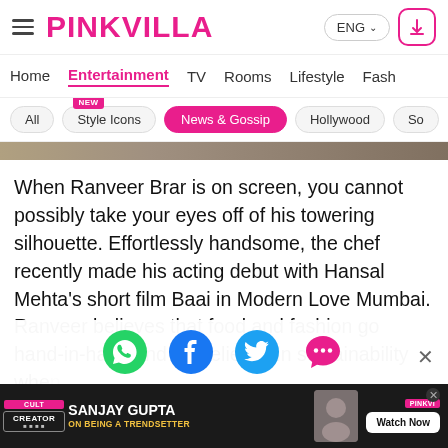PINKVILLA
Home  Entertainment  TV  Rooms  Lifestyle  Fash
All  Style Icons (NEW)  News & Gossip  Hollywood  So
When Ranveer Brar is on screen, you cannot possibly take your eyes off of his towering silhouette. Effortlessly handsome, the chef recently made his acting debut with Hansal Mehta's short film Baai in Modern Love Mumbai. Ranveer believes that food and fashion go hand-in-hand and he believes in sustainability when...
[Figure (screenshot): Social sharing icons: WhatsApp (green), Facebook (blue), Twitter (light blue), more options (pink chat bubble)]
[Figure (screenshot): Advertisement banner: CULT CREATOR - SANJAY GUPTA ON BEING A TRENDSETTER - Watch Now button with PINKVILLA branding]